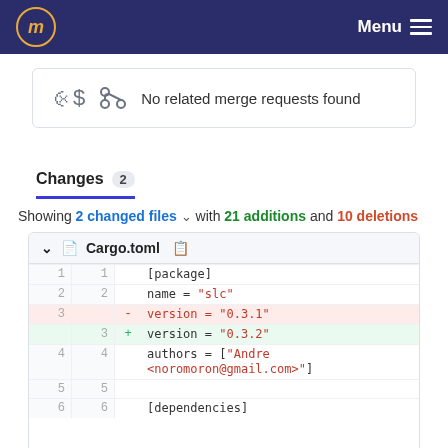Menu
No related merge requests found
Changes 2
Showing 2 changed files with 21 additions and 10 deletions
| old | new | sign | code |
| --- | --- | --- | --- |
| 1 | 1 |  | [package] |
| 2 | 2 |  | name = "slc" |
| 3 |  | - | version = "0.3.1" |
|  | 3 | + | version = "0.3.2" |
| 4 | 4 |  | authors = ["Andre <noromoron@gmail.com>"] |
| 5 | 5 |  |  |
| 6 | 6 |  | [dependencies] |